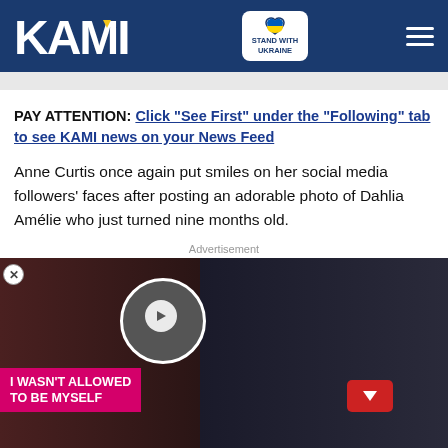KAMI — STAND WITH UKRAINE
PAY ATTENTION: Click "See First" under the "Following" tab to see KAMI news on your News Feed
Anne Curtis once again put smiles on her social media followers' faces after posting an adorable photo of Dahlia Amélie who just turned nine months old.
[Figure (photo): Advertisement image showing a woman with eye patch and a man, with overlay text 'I WASN'T ALLOWED TO BE MYSELF' and a play button, plus a BitLife game advertisement at the bottom.]